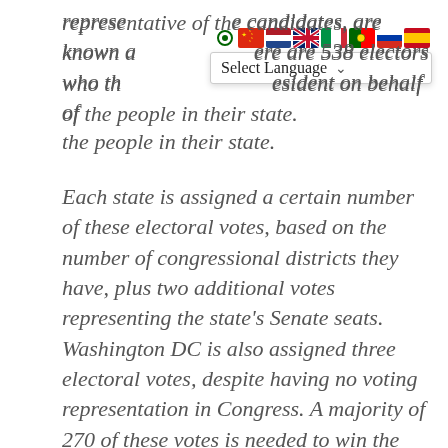representative of the candidates, are known as electors. There are 538 electors who then vote for the president on behalf of the people in their state.
Each state is assigned a certain number of these electoral votes, based on the number of congressional districts they have, plus two additional votes representing the state's Senate seats. Washington DC is also assigned three electoral votes, despite having no voting representation in Congress. A majority of 270 of these votes is needed to win the presidency.